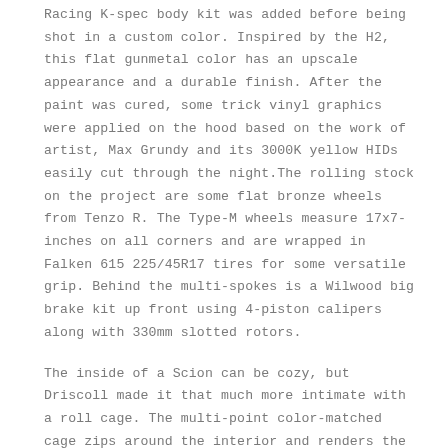Racing K-spec body kit was added before being shot in a custom color. Inspired by the H2, this flat gunmetal color has an upscale appearance and a durable finish. After the paint was cured, some trick vinyl graphics were applied on the hood based on the work of artist, Max Grundy and its 3000K yellow HIDs easily cut through the night.The rolling stock on the project are some flat bronze wheels from Tenzo R. The Type-M wheels measure 17x7-inches on all corners and are wrapped in Falken 615 225/45R17 tires for some versatile grip. Behind the multi-spokes is a Wilwood big brake kit up front using 4-piston calipers along with 330mm slotted rotors.
The inside of a Scion can be cozy, but Driscoll made it that much more intimate with a roll cage. The multi-point color-matched cage zips around the interior and renders the backseats useless making it a 2-seater.